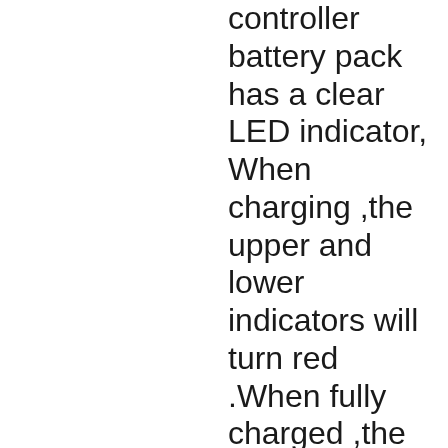controller battery pack has a clear LED indicator, When charging ,the upper and lower indicators will turn red .When fully charged ,the indicators will turn green . The charger has the ability to “sense” the orientation of the battery and alter the pin polarity automatically .No matter which way the battery is inserted, it will safely charge
Long-Lasting Xbox Rechargeable Battery Pack □4 x 1500mAh rechargeable battery pack for xbox one is designed to provide more power and enjoy more fun . Each battery for xbox one